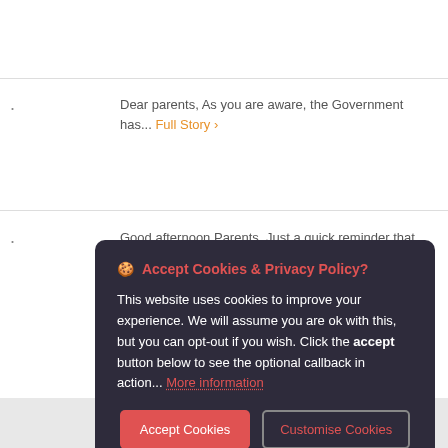Dear parents, As you are aware, the Government has... Full Story ›
Good afternoon Parents, Just a quick reminder that the... Full Story ›
🍪 Accept Cookies & Privacy Policy?
This website uses cookies to improve your experience. We will assume you are ok with this, but you can opt-out if you wish. Click the accept button below to see the optional callback in action... More information